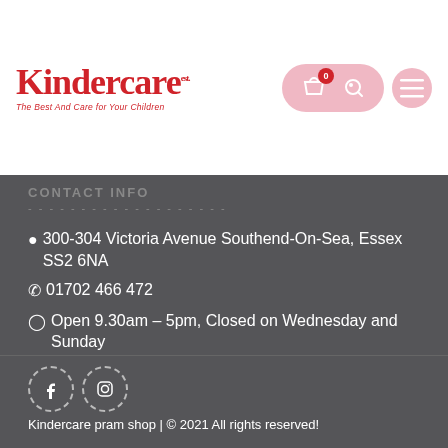[Figure (logo): Kindercare logo with red cursive text and tagline 'The Best Care for Your Children']
[Figure (infographic): Navigation icons: shopping bag with badge 0, key icon, hamburger menu icon]
CONTACT INFO
📍 300-304 Victoria Avenue Southend-On-Sea, Essex SS2 6NA
📞 01702 466 472
🕐 Open 9.30am – 5pm, Closed on Wednesday and Sunday
[Figure (infographic): Social media icons: Facebook and Instagram in dashed circles]
Kindercare pram shop | © 2021 All rights reserved!